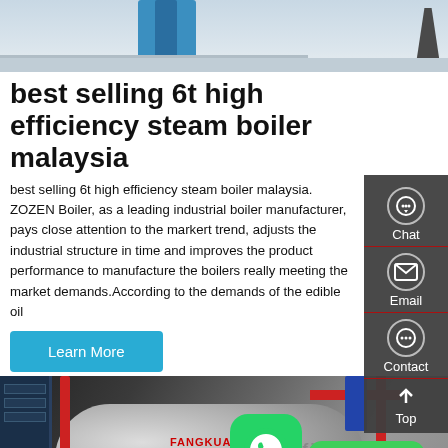[Figure (photo): Industrial facility interior showing a blue pipe/column and a dark crane structure on a light grey background]
best selling 6t high efficiency steam boiler malaysia
best selling 6t high efficiency steam boiler malaysia. ZOZEN Boiler, as a leading industrial boiler manufacturer, pays close attention to the markert trend, adjusts the industrial structure in time and improves the product performance to manufacture the boilers really meeting the market demands.According to the demands of the edible oil
[Figure (screenshot): UI sidebar with Chat, Email, Contact, Top navigation items on dark grey background]
Learn More
[Figure (photo): Industrial boiler room with silver cylindrical boilers, red, yellow and blue pipes, and control panels]
Contact us now!
Hey, we are live 24/7. How may I help you?